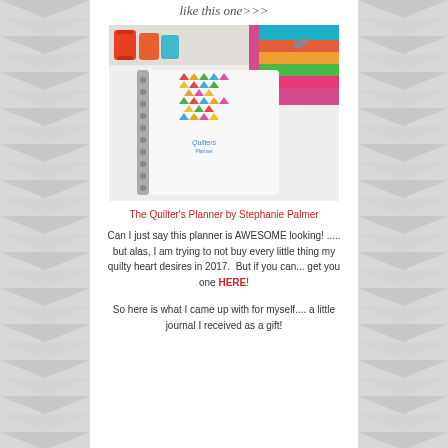like this one>>>
[Figure (photo): A spiral-bound quilter's planner with colorful triangle pattern on the cover, surrounded by spools of thread and stacked fabric in the background]
The Quilter's Planner by Stephanie Palmer
Can I just say this planner is AWESOME looking! ..... but alas, I am trying to not buy every little thing my quilty heart desires in 2017.  But if you can... get you one HERE!
So here is what I came up with for myself.... a little journal I received as a gift!